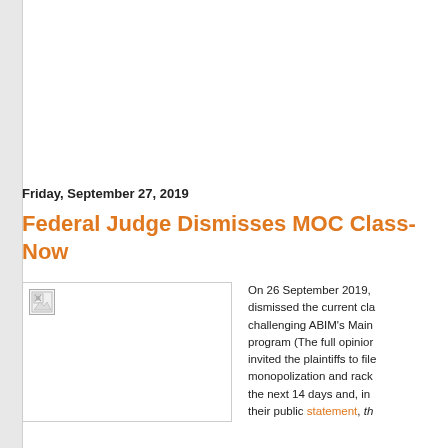Friday, September 27, 2019
Federal Judge Dismisses MOC Class- Now
[Figure (photo): Broken image placeholder — article illustration]
On 26 September 2019, dismissed the current cla challenging ABIM's Main program (The full opinior invited the plaintiffs to file monopolization and rack the next 14 days and, in their public statement, th